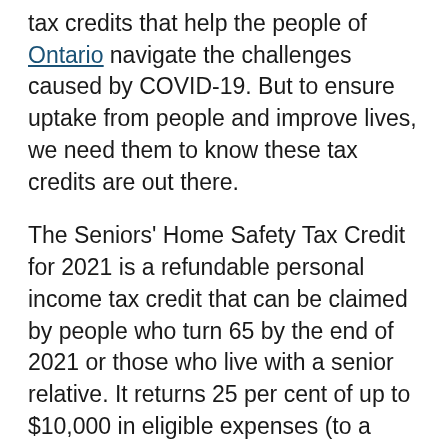tax credits that help the people of Ontario navigate the challenges caused by COVID-19. But to ensure uptake from people and improve lives, we need them to know these tax credits are out there.
The Seniors' Home Safety Tax Credit for 2021 is a refundable personal income tax credit that can be claimed by people who turn 65 by the end of 2021 or those who live with a senior relative. It returns 25 per cent of up to $10,000 in eligible expenses (to a maximum of $2,500) for renovations to a senior's principal residence in Ontario. Examples of eligible expenses include grab bars, wheelchair ramps, stair lifts, and renovations to move a